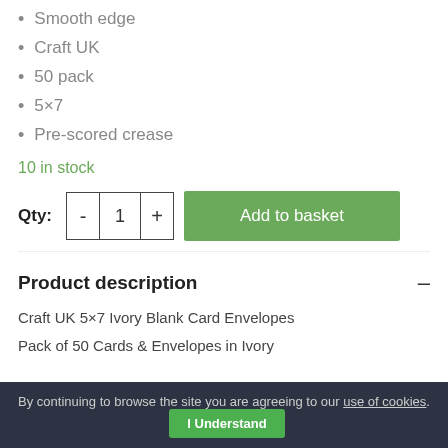Smooth edge
Craft UK
50 pack
5×7
Pre-scored crease
10 in stock
Qty: - 1 + Add to basket
Product description
Craft UK 5×7 Ivory Blank Card Envelopes
Pack of 50 Cards & Envelopes in Ivory
By continuing to browse the site you are agreeing to our use of cookies. I Understand